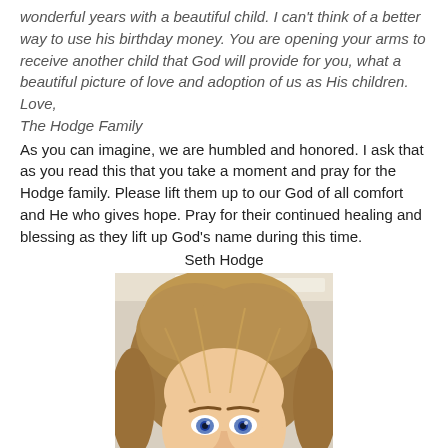wonderful years with a beautiful child. I can't think of a better way to use his birthday money. You are opening your arms to receive another child that God will provide for you, what a beautiful picture of love and adoption of us as His children. Love, The Hodge Family
As you can imagine, we are humbled and honored. I ask that as you read this that you take a moment and pray for the Hodge family. Please lift them up to our God of all comfort and He who gives hope. Pray for their continued healing and blessing as they lift up God's name during this time.
Seth Hodge
[Figure (photo): Close-up photo of a young boy with light brown/blonde hair and blue eyes, taken indoors.]